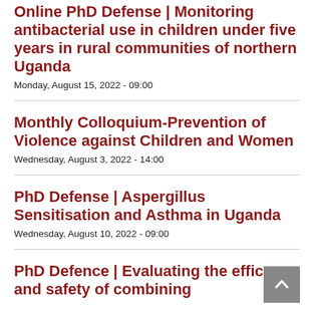Online PhD Defense | Monitoring antibacterial use in children under five years in rural communities of northern Uganda
Monday, August 15, 2022 - 09:00
Monthly Colloquium-Prevention of Violence against Children and Women
Wednesday, August 3, 2022 - 14:00
PhD Defense | Aspergillus Sensitisation and Asthma in Uganda
Wednesday, August 10, 2022 - 09:00
PhD Defence | Evaluating the efficacy and safety of combining...